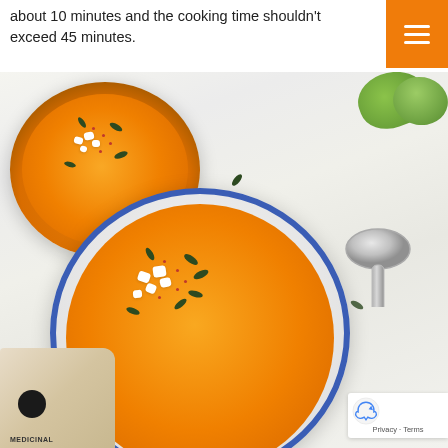about 10 minutes and the cooking time shouldn't exceed 45 minutes.
[Figure (photo): Overhead view of two bowls of orange pumpkin/squash soup garnished with white cheese cubes, pumpkin seeds, and red spice flakes. A silver spoon, scattered pumpkin seeds, green limes, and a linen bag are visible on a light grey surface. A reCAPTCHA badge appears in the lower right corner.]